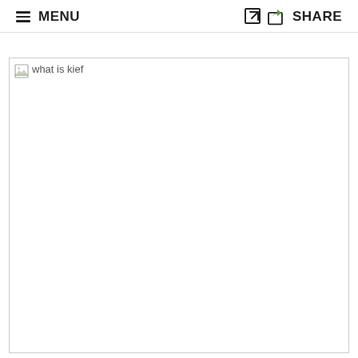MENU  SHARE
[Figure (photo): Broken/unloaded image placeholder with alt text 'what is kief']